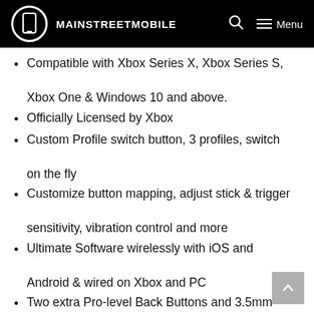MAINSTREETMOBILE
Compatible with Xbox Series X, Xbox Series S, Xbox One & Windows 10 and above.
Officially Licensed by Xbox
Custom Profile switch button, 3 profiles, switch on the fly
Customize button mapping, adjust stick & trigger sensitivity, vibration control and more
Ultimate Software wirelessly with iOS and Android & wired on Xbox and PC
Two extra Pro-level Back Buttons and 3.5mm